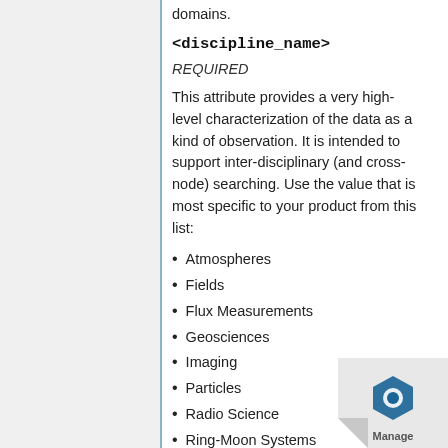domains.
<discipline_name>
REQUIRED
This attribute provides a very high-level characterization of the data as a kind of observation. It is intended to support inter-disciplinary (and cross-node) searching. Use the value that is most specific to your product from this list:
Atmospheres
Fields
Flux Measurements
Geosciences
Imaging
Particles
Radio Science
Ring-Moon Systems
Small Bodies